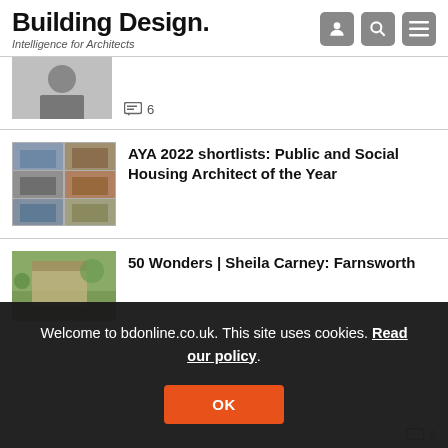Building Design. Intelligence for Architects
[Figure (photo): Partial article thumbnail showing a person (man with glasses)]
6 comments
[Figure (photo): Article thumbnail showing a grid of building/housing images for AYA 2022 shortlists]
AYA 2022 shortlists: Public and Social Housing Architect of the Year
[Figure (photo): Partial article thumbnail showing a green outdoor scene]
50 Wonders | Sheila Carney: Farnsworth
Welcome to bdonline.co.uk. This site uses cookies. Read our policy.
OK
6 comments